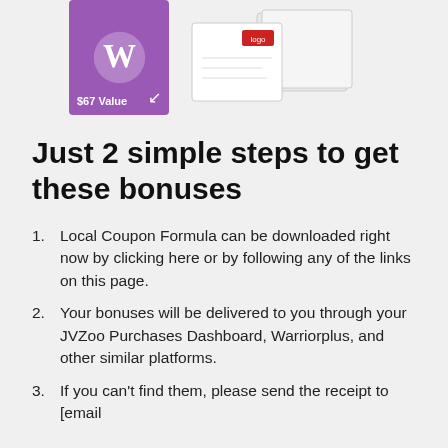[Figure (illustration): Product images: a purple WordPress-branded box showing '$67 Value' with an arrow, and white product boxes on the right side]
Just 2 simple steps to get these bonuses
Local Coupon Formula can be downloaded right now by clicking here or by following any of the links on this page.
Your bonuses will be delivered to you through your JVZoo Purchases Dashboard, Warriorplus, and other similar platforms.
If you can't find them, please send the receipt to [email